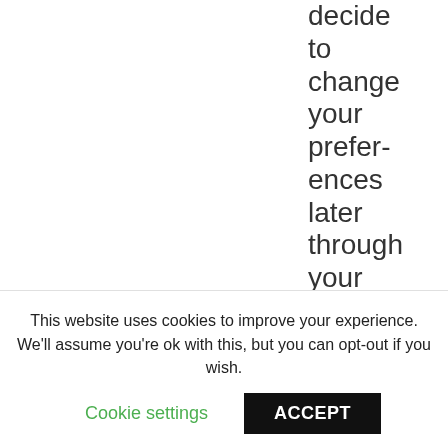decide to change your preferences later through your browsing session, you can click on
[Figure (illustration): Accessibility icon: blue circle with white human figure inside, arms and legs extended]
This website uses cookies to improve your experience. We'll assume you're ok with this, but you can opt-out if you wish.
Cookie settings
ACCEPT